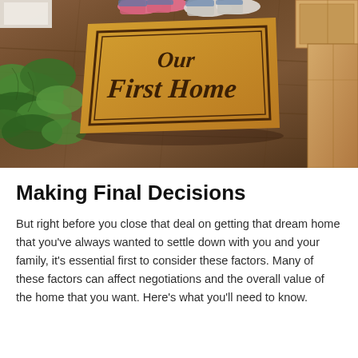[Figure (photo): Photo of a welcome mat reading 'Our First Home' on a wood floor, with a green plant on the left, moving boxes on the right, and two pairs of feet (one in pink sneakers, one in white sneakers) visible at the top.]
Making Final Decisions
But right before you close that deal on getting that dream home that you've always wanted to settle down with you and your family, it's essential first to consider these factors. Many of these factors can affect negotiations and the overall value of the home that you want. Here's what you'll need to know.